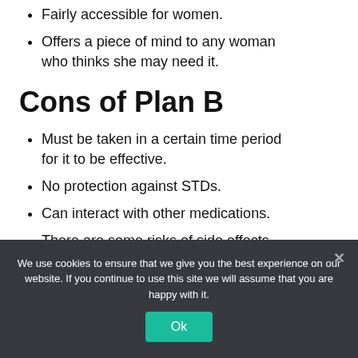Fairly accessible for women.
Offers a piece of mind to any woman who thinks she may need it.
Cons of Plan B
Must be taken in a certain time period for it to be effective.
No protection against STDs.
Can interact with other medications.
There are some risks of side effects like nausea, dizziness, fatigue, and cramping.
We use cookies to ensure that we give you the best experience on our website. If you continue to use this site we will assume that you are happy with it.